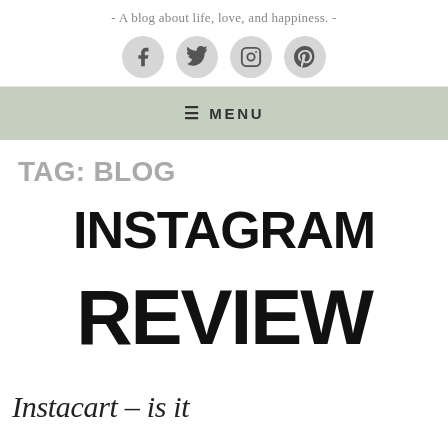- A blog about life, love, and happiness. -
[Figure (illustration): Four social media icon circles: Facebook, Twitter, Instagram, Pinterest on grey circular backgrounds]
≡ MENU
TAG: BLOG
[Figure (photo): Instagram Review graphic: bold text 'INSTAGRAM' and 'REVIEW' overlaid on a colorful polka-dot pattern with multicolored pie-chart-style circles]
Instacart – is it